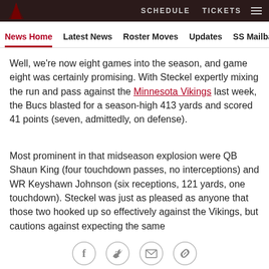SCHEDULE   TICKETS
News Home   Latest News   Roster Moves   Updates   SS Mailbag
Well, we're now eight games into the season, and game eight was certainly promising. With Steckel expertly mixing the run and pass against the Minnesota Vikings last week, the Bucs blasted for a season-high 413 yards and scored 41 points (seven, admittedly, on defense).
Most prominent in that midseason explosion were QB Shaun King (four touchdown passes, no interceptions) and WR Keyshawn Johnson (six receptions, 121 yards, one touchdown). Steckel was just as pleased as anyone that those two hooked up so effectively against the Vikings, but cautions against expecting the same
[Figure (other): Social media sharing icons: Facebook, Twitter, Email, Link]